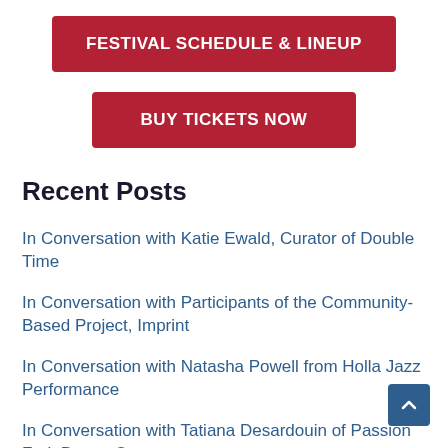FESTIVAL SCHEDULE & LINEUP
BUY TICKETS NOW
Recent Posts
In Conversation with Katie Ewald, Curator of Double Time
In Conversation with Participants of the Community-Based Project, Imprint
In Conversation with Natasha Powell from Holla Jazz Performance
In Conversation with Tatiana Desardouin of Passion Fruit Dance Co...